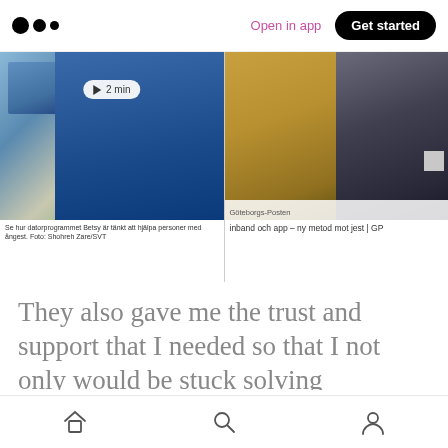Medium app header — Open in app | Get started
[Figure (screenshot): Two thumbnail images side by side: left shows a nurse in blue scrubs near a computer screen with a 2 min play button, captioned 'Se hur datorprogrammet Betsy är tänkt att hjälpa personer med ångest. Foto: Shohreh Zare/SVT'; right shows two people with text 'Göteborgs-Posten' and caption 'inband och app – ny metod mot jest | GP']
Se hur datorprogrammet Betsy är tänkt att hjälpa personer med ångest. Foto: Shohreh Zare/SVT
Göteborgs-Posten
inband och app – ny metod mot jest | GP
They also gave me the trust and support that I needed so that I not only would be stuck solving problems, but to
Home | Search | Profile navigation icons